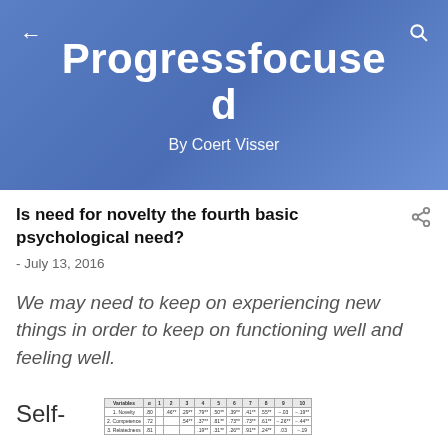Progressfocused
By Coert Visser
Is need for novelty the fourth basic psychological need?
- July 13, 2016
We may need to keep on experiencing new things in order to keep on functioning well and feeling well.
Self-
[Figure (table-as-image): Partial view of a correlation table showing variables including Novelty, Competence, Relatedness with correlation values across columns 0-10]